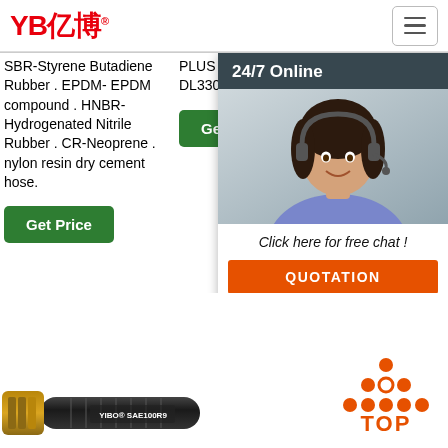YB亿博
SBR-Styrene Butadiene Rubber . EPDM- EPDM compound . HNBR- Hydrogenated Nitrile Rubber . CR- Neoprene . nylon resin dry cement hose.
Get Price
PLUS ONLY 3.7K WORD DL330 D3-330-37 ...
Get Price
DRIVE FRZ MITSUBISHI DRIVE 3PH FR- MITSUBISHI
G
[Figure (screenshot): 24/7 Online chat widget with a photo of a customer service representative wearing a headset, with text 'Click here for free chat!' and an orange QUOTATION button]
[Figure (photo): YIBO SAE100R9 hydraulic hose product photo showing black rubber hose with gold fitting]
[Figure (other): TOP button with orange dots arranged in a triangle pattern above the text TOP in orange]